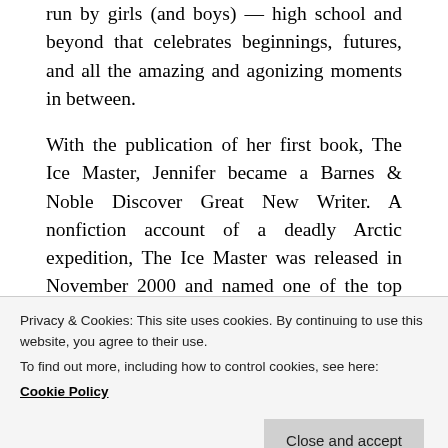run by girls (and boys) — high school and beyond that celebrates beginnings, futures, and all the amazing and agonizing moments in between.
With the publication of her first book, The Ice Master, Jennifer became a Barnes & Noble Discover Great New Writer. A nonfiction account of a deadly Arctic expedition, The Ice Master was released in November 2000 and named one of the top ten nonfiction books of the year by Entertainment Weekly, and translated into multiple languages, including German, French, Italian, Portuguese,
Privacy & Cookies: This site uses cookies. By continuing to use this website, you agree to their use.
To find out more, including how to control cookies, see here:
Cookie Policy
among others. Dateline BBC, the Discovery Channel,